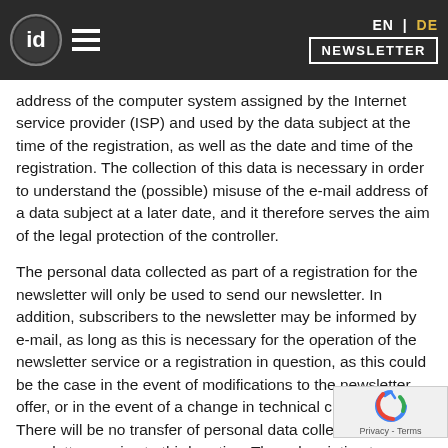EN | DE  NEWSLETTER
address of the computer system assigned by the Internet service provider (ISP) and used by the data subject at the time of the registration, as well as the date and time of the registration. The collection of this data is necessary in order to understand the (possible) misuse of the e-mail address of a data subject at a later date, and it therefore serves the aim of the legal protection of the controller.
The personal data collected as part of a registration for the newsletter will only be used to send our newsletter. In addition, subscribers to the newsletter may be informed by e-mail, as long as this is necessary for the operation of the newsletter service or a registration in question, as this could be the case in the event of modifications to the newsletter offer, or in the event of a change in technical circumstances. There will be no transfer of personal data collected by the newsletter service to third parties. The subscription to our newsletter may be terminated by the data subject at any time. The consent to the storage of personal data, which the data subject has given for shipping the newsletter, may be revoked at any time. For the purpose of revocation of